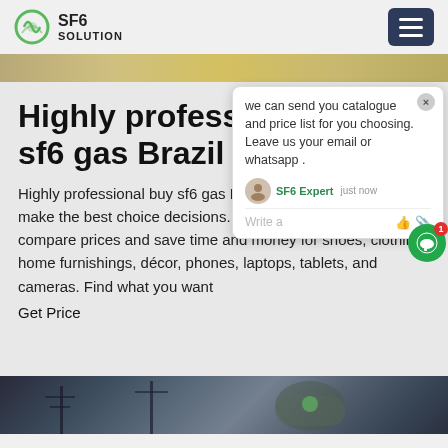SF6 SOLUTION
[Figure (photo): Hero image strip - partially visible outdoor scene with golden/brown tones]
Highly professional buy sf6 gas Brazil
Highly professional buy sf6 gas Brazil. Shopping helps you make the best choice decisions. Shop your favorite stores to compare prices and save time and money for shoes, clothing, home furnishings, décor, phones, laptops, tablets, and cameras. Find what you want
Get Price
[Figure (screenshot): Chat popup window with message: we can send you catalogue and price list for you choosing. Leave us your email or whatsapp. SF6 Expert agent, just now. Write a message input area.]
[Figure (photo): Bottom image strip - electrical power transmission towers and equipment against sky]